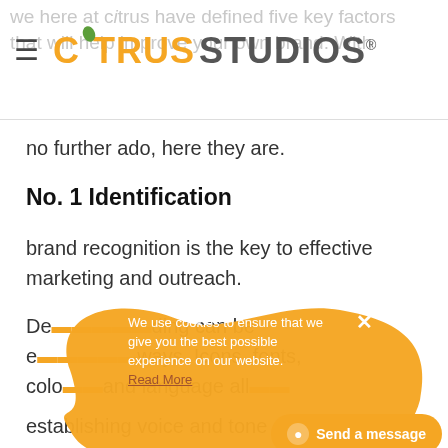we here at citrus have defined five key factors that will help improve your own brand. With
[Figure (logo): Citrus Studios logo with hamburger menu icon, orange leaf accent on letter i]
no further ado, here they are.
No. 1 Identification
brand recognition is the key to effective marketing and outreach.
De[obscured]ding can be e[obscured]ways. Icons, fonts, colo[obscured]and language all[obscured]
establishing voice and tone of your brand.
[Figure (screenshot): Cookie consent popup overlay with orange blob shape, close X button, text: We use cookies to ensure that we give you the best possible experience on our website. Read More. Orange 'Send a message' button at bottom right.]